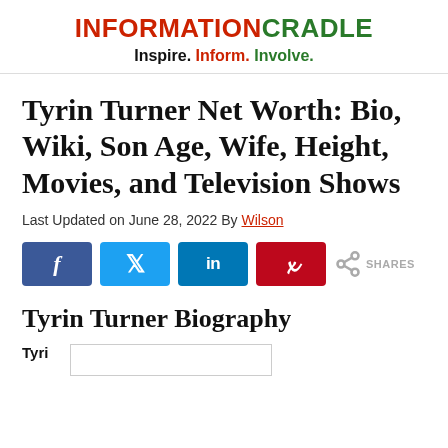INFORMATIONCRADLE — Inspire. Inform. Involve.
Tyrin Turner Net Worth: Bio, Wiki, Son Age, Wife, Height, Movies, and Television Shows
Last Updated on June 28, 2022 By Wilson
[Figure (infographic): Social share buttons: Facebook (f), Twitter (t), LinkedIn (in), Pinterest (p), and a share icon with SHARES label]
Tyrin Turner Biography
Tyri